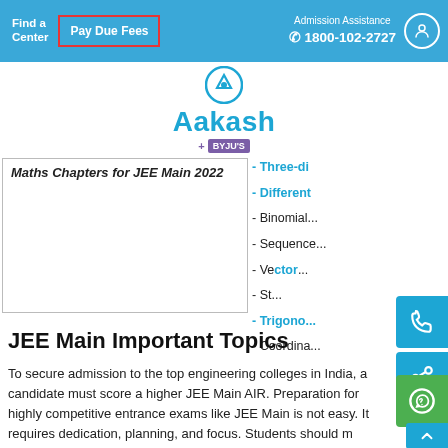Find a Center | Pay Due Fees | Admission Assistance 1800-102-2727
[Figure (logo): Aakash + BYJU'S logo with circular icon at top]
Maths Chapters for JEE Main 2022
- Three-di...
- Different...
- Binomial...
- Sequence...
- Vectors...
- St...
- Trigonometric...
- Coordina...
JEE Main Important Topics
To secure admission to the top engineering colleges in India, a candidate must score a higher JEE Main AIR. Preparation for highly competitive entrance exams like JEE Main is not easy. It requires dedication, planning, and focus. Students should make a proper study plan to study the complete syllabus of the exam and then focus on important concepts and topics. Here are